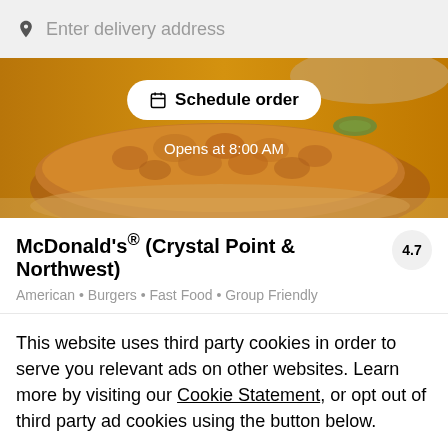Enter delivery address
[Figure (photo): McDonald's restaurant hero image showing a breaded chicken sandwich/patty on a golden/amber background with a Schedule order button overlay and Opens at 8:00 AM text]
McDonald's® (Crystal Point & Northwest)
4.7
American • Burgers • Fast Food • Group Friendly
This website uses third party cookies in order to serve you relevant ads on other websites. Learn more by visiting our Cookie Statement, or opt out of third party ad cookies using the button below.
Opt out
Got it